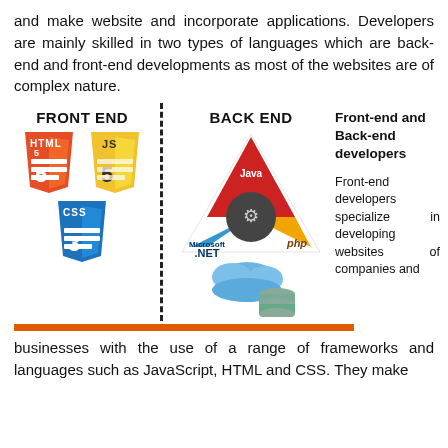and make website and incorporate applications. Developers are mainly skilled in two types of languages which are back-end and front-end developments as most of the websites are of complex nature.
[Figure (infographic): Infographic showing Front End (HTML5, JS, CSS3 logos) and Back End (Java, .NET, PHP triangle with cloud and database) separated by a dashed vertical line, with an orange horizontal bar at the bottom.]
Front-end developers specialize in developing websites of companies and
businesses with the use of a range of frameworks and languages such as JavaScript, HTML and CSS. They make